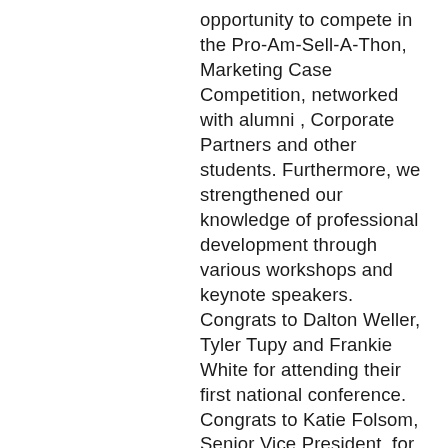opportunity to compete in the Pro-Am-Sell-A-Thon, Marketing Case Competition, networked with alumni , Corporate Partners and other students. Furthermore, we strengthened our knowledge of professional development through various workshops and keynote speakers. Congrats to Dalton Weller, Tyler Tupy and Frankie White for attending their first national conference.
Congrats to Katie Folsom, Senior Vice President, for receiving the Principal Financial Group Scholarship. Also congrats to Tyler Tupy for being a recipient of this years Future Leaders Scholarship
This past week, UWEC PSE chapter received a sustained excellence award. Zeta Epsilon has received Gold Status for the last 4 years in a row. We cannot wait to continue this